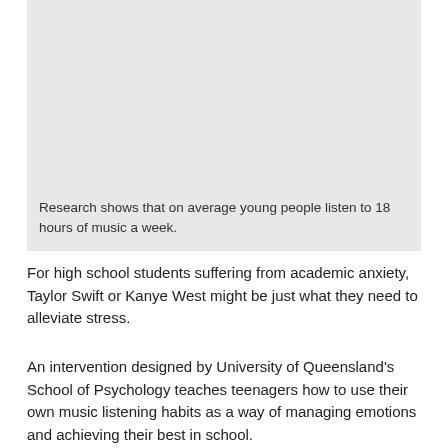[Figure (photo): A light gray rectangular image placeholder at the top of the page]
Research shows that on average young people listen to 18 hours of music a week.
For high school students suffering from academic anxiety, Taylor Swift or Kanye West might be just what they need to alleviate stress.
An intervention designed by University of Queensland's School of Psychology teaches teenagers how to use their own music listening habits as a way of managing emotions and achieving their best in school.